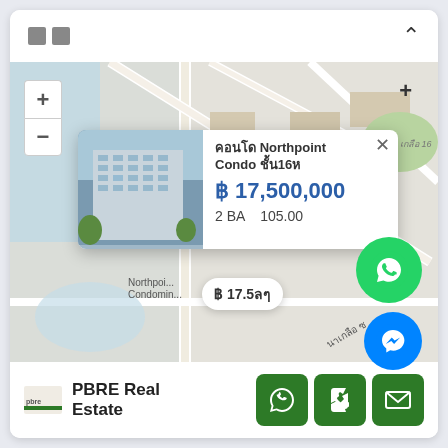[Figure (screenshot): Mobile real estate app screenshot showing a map with a property popup for Northpoint Condo at ฿17,500,000, 2 BA, 105.00 sqm. Map shows Wang Amat area. Social contact buttons (WhatsApp, Messenger, close) visible on map. Bottom bar shows PBRE Real Estate branding and action buttons.]
□□
คอนโด Northpoint Condo ชั้น16ห
฿ 17,500,000
2 BA   105.00
฿ 17.5ลๆ
PBRE Real Estate